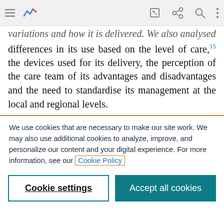[Browser toolbar with menu, chart icon, edit, share, search, more icons]
…variations and how it is delivered. We also analysed differences in its use based on the level of care,15 the devices used for its delivery, the perception of the care team of its advantages and disadvantages and the need to standardise its management at the local and regional levels.
We use cookies that are necessary to make our site work. We may also use additional cookies to analyze, improve, and personalize our content and your digital experience. For more information, see our Cookie Policy
Cookie settings
Accept all cookies